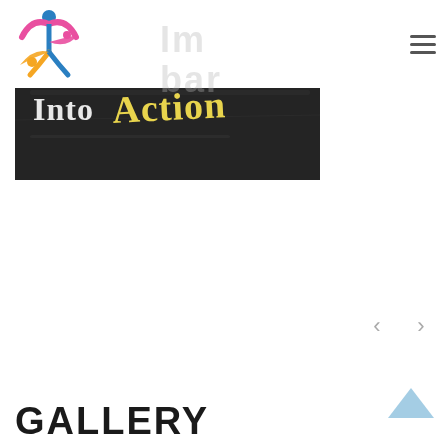[Figure (logo): Colorful logo with figures in blue, orange, yellow, and pink forming a star/person shape]
[Figure (photo): Chalkboard image with white and yellow chalk text reading 'your Into Action']
Im bar
GALLERY